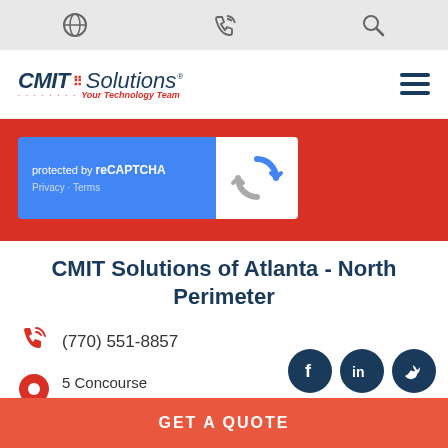CMIT Solutions website header with utility icons and navigation
[Figure (logo): CMIT Solutions logo with tagline 'Your Technology Team']
[Figure (screenshot): reCAPTCHA widget on red background showing 'protected by reCAPTCHA' with Privacy and Terms links]
CMIT Solutions of Atlanta - North Perimeter
(770) 551-8857
5 Concourse Parkway, Suite 3000 Atlanta, GA 30328
[Figure (infographic): Social media icons: Facebook, LinkedIn, Twitter circles in dark navy blue, and YouTube circle in red]
GET A QUOTE